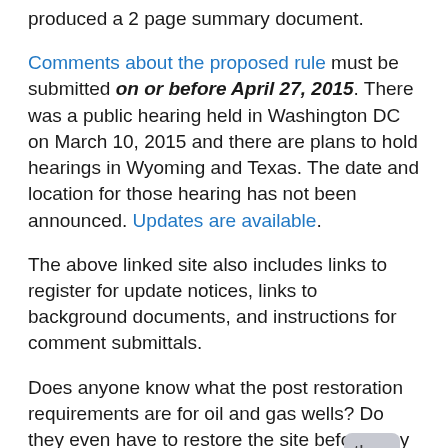produced a 2 page summary document.
Comments about the proposed rule must be submitted on or before April 27, 2015. There was a public hearing held in Washington DC on March 10, 2015 and there are plans to hold hearings in Wyoming and Texas. The date and location for those hearing has not been announced. Updates are available.
The above linked site also includes links to register for update notices, links to background documents, and instructions for comment submittals.
Does anyone know what the post restoration requirements are for oil and gas wells? Do they even have to restore the site before they pull